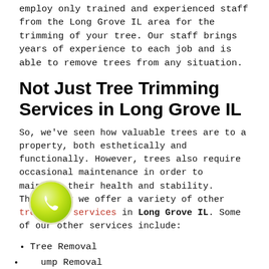employ only trained and experienced staff from the Long Grove IL area for the trimming of your tree. Our staff brings years of experience to each job and is able to remove trees from any situation.
Not Just Tree Trimming Services in Long Grove IL
So, we've seen how valuable trees are to a property, both esthetically and functionally. However, trees also require occasional maintenance in order to maintain their health and stability. That's why we offer a variety of other tree care services in Long Grove IL. Some of our other services include:
Tree Removal
Stump Removal
Stump Grinding
Tree Shaping & Thinning
Brush Clearing